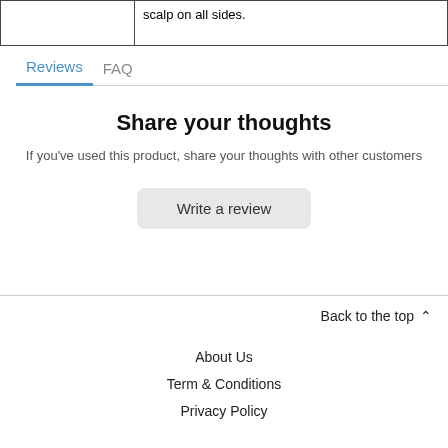|  | scalp on all sides. |
Reviews	FAQ
Share your thoughts
If you've used this product, share your thoughts with other customers
Write a review
Back to the top ^
About Us
Term & Conditions
Privacy Policy